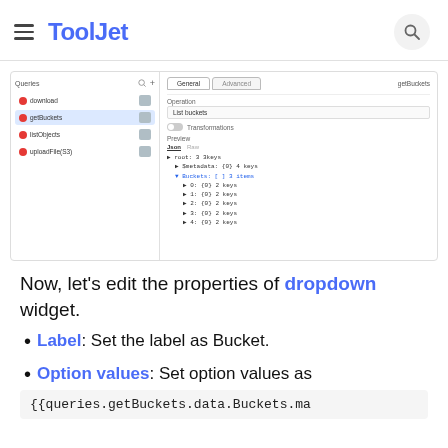ToolJet
[Figure (screenshot): ToolJet query editor screenshot showing getBuckets query selected, with General/Advanced tabs, Operation set to List buckets, Transformations toggle, and Preview panel showing JSON tree with root, $metadata, and Buckets items.]
Now, let's edit the properties of dropdown widget.
Label: Set the label as Bucket.
Option values: Set option values as
{{queries.getBuckets.data.Buckets.ma